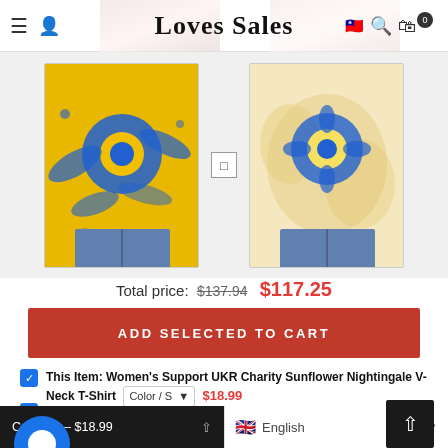Loves Sales
[Figure (photo): Two product images: left shows a yellow and blue sunflower tie-dye sweatshirt, right shows a lighter yellow/beige tie-dye sunflower sweatshirt. Both modeled with denim shorts.]
Total price: $137.94  $117.25
ADD SELECTED TO CART
This Item: Women's Support UKR Charity Sunflower Nightingale V-Neck T-Shirt  Color / S  $18.99
Women's Support UKR Charity Sunflower Nightingale V-Neck T-Shirt  $17.99
Support UKR Charity Sunflower Nightingale V Neck Long Sleeve Top
Color / S – $18.99   English